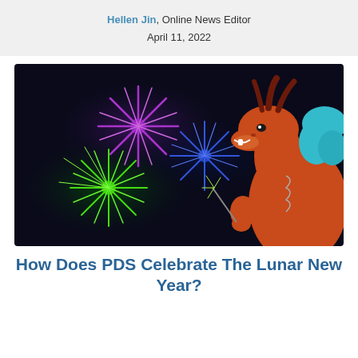Hellen Jin, Online News Editor
April 11, 2022
[Figure (illustration): Illustrated cartoon scene with a red dragon holding a sparkler on a dark background, with colorful fireworks in purple, blue, and green exploding in the night sky.]
How Does PDS Celebrate The Lunar New Year?